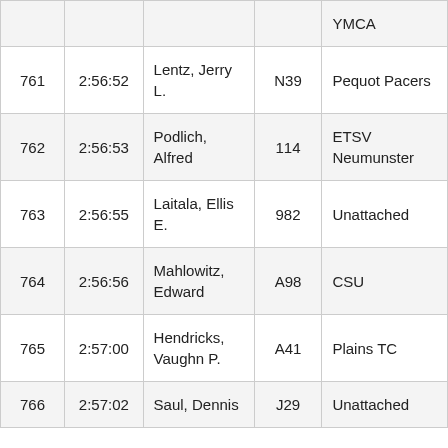|  |  |  |  | YMCA |
| 761 | 2:56:52 | Lentz, Jerry L. | N39 | Pequot Pacers |
| 762 | 2:56:53 | Podlich, Alfred | 114 | ETSV Neumunster |
| 763 | 2:56:55 | Laitala, Ellis E. | 982 | Unattached |
| 764 | 2:56:56 | Mahlowitz, Edward | A98 | CSU |
| 765 | 2:57:00 | Hendricks, Vaughn P. | A41 | Plains TC |
| 766 | 2:57:02 | Saul, Dennis | J29 | Unattached |